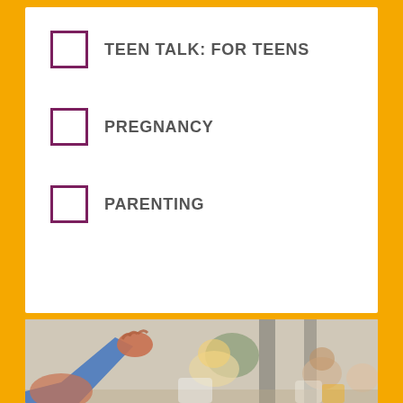TEEN TALK: FOR TEENS
PREGNANCY
PARENTING
[Figure (photo): A person in a blue long-sleeve shirt raising their hand in a classroom or group setting, with several other young people visible in the background, some smiling.]